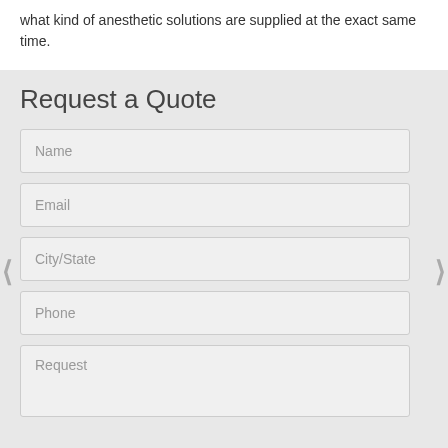what kind of anesthetic solutions are supplied at the exact same time.
Request a Quote
Name
Email
City/State
Phone
Request